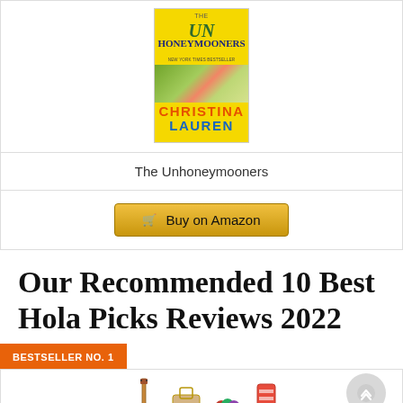[Figure (illustration): Book cover of 'The Unhoneymooners' by Christina Lauren, yellow background with tropical foliage]
The Unhoneymooners
Buy on Amazon
Our Recommended 10 Best Hola Picks Reviews 2022
BESTSELLER NO. 1
[Figure (photo): Product image showing ukulele and accessories]